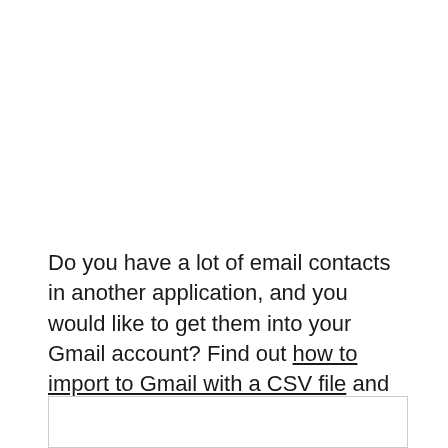Do you have a lot of email contacts in another application, and you would like to get them into your Gmail account? Find out how to import to Gmail with a CSV file and combine all of your contacts into one location.